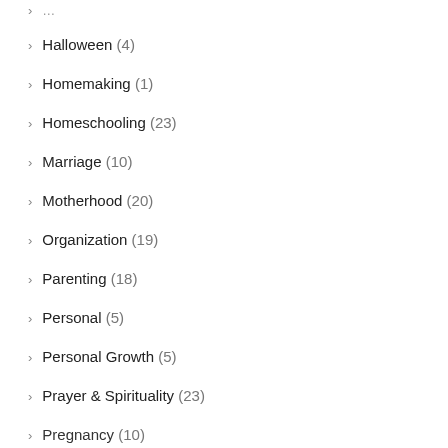Halloween (4)
Homemaking (1)
Homeschooling (23)
Marriage (10)
Motherhood (20)
Organization (19)
Parenting (18)
Personal (5)
Personal Growth (5)
Prayer & Spirituality (23)
Pregnancy (10)